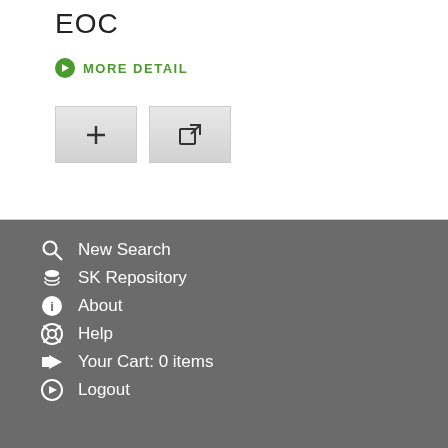EOC
MORE DETAIL
[Figure (screenshot): Two button icons: a plus (+) button and an external link button]
New Search
SK Repository
About
Help
Your Cart: 0 items
Logout